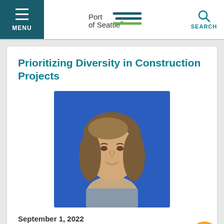Port of Seattle — MENU / SEARCH navigation bar
Prioritizing Diversity in Construction Projects
[Figure (photo): Headshot of a woman with shoulder-length brown hair smiling, wearing a grey blazer, against a blue background]
September 1, 2022
by Omie Drawhorn